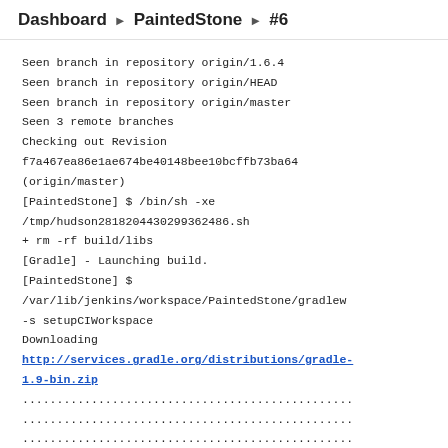Dashboard ▶ PaintedStone ▶ #6
Seen branch in repository origin/1.6.4
Seen branch in repository origin/HEAD
Seen branch in repository origin/master
Seen 3 remote branches
Checking out Revision
f7a467ea86e1ae674be40148bee10bcffb73ba64
(origin/master)
[PaintedStone] $ /bin/sh -xe
/tmp/hudson2818204430299362486.sh
+ rm -rf build/libs
[Gradle] - Launching build.
[PaintedStone] $
/var/lib/jenkins/workspace/PaintedStone/gradlew
-s setupCIWorkspace
Downloading
http://services.gradle.org/distributions/gradle-1.9-bin.zip
................................................
................................................
................................................